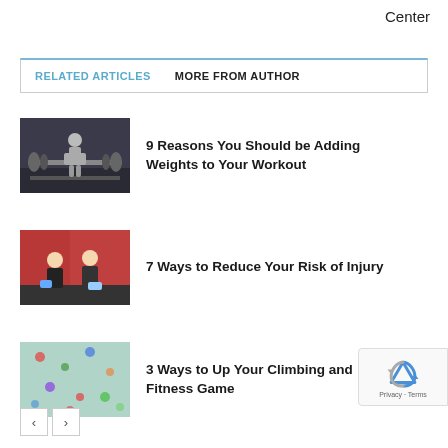Center
RELATED ARTICLES   MORE FROM AUTHOR
[Figure (photo): Person doing a barbell squat in a gym]
9 Reasons You Should be Adding Weights to Your Workout
[Figure (photo): Two women stretching or doing fitness exercises together]
7 Ways to Reduce Your Risk of Injury
[Figure (photo): Aerial or close-up view of a climbing wall with holds]
3 Ways to Up Your Climbing and Fitness Game